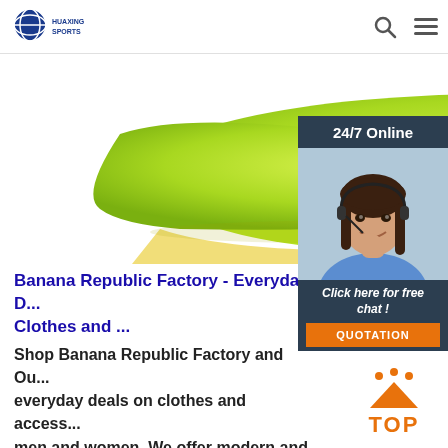[Figure (logo): Huaxing Sports logo — circular emblem with globe/sports icon in blue, text 'HUAXING SPORTS' below]
[Figure (photo): Close-up product photo of a lime/yellow-green padded object (possibly a sports glove or pad) on white background]
[Figure (photo): 24/7 Online chat widget showing a woman with headset smiling, with 'Click here for free chat!' text and QUOTATION button]
Banana Republic Factory - Everyday D... Clothes and ...
Shop Banana Republic Factory and Ou... everyday deals on clothes and access... men and women. We offer modern and sophisticated clothing styles online at discount prices.
[Figure (other): Orange 'Get Price' button]
[Figure (other): Orange 'TOP' back-to-top button with triangle arrow and dots]